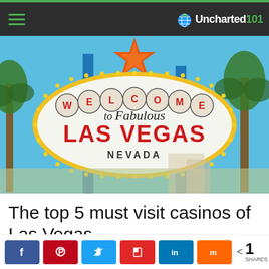Uncharted101
[Figure (photo): The iconic Welcome to Fabulous Las Vegas Nevada sign against a blue sky with palm trees]
The top 5 must visit casinos of Las Vegas
< 1 SHARES (share buttons: Facebook, Pinterest, Twitter, Flipboard, LinkedIn, Mix)